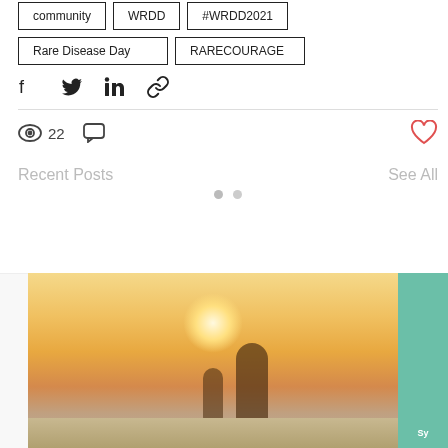community
WRDD
#WRDD2021
Rare Disease Day
RARECOURAGE
[Figure (other): Social share icons: Facebook, Twitter, LinkedIn, link]
22 views, 0 comments, heart/like button
Recent Posts
See All
[Figure (photo): Photo of adult and child walking on beach at sunset holding hands, warm golden light. Partially visible green-tinted image on right edge showing a person.]